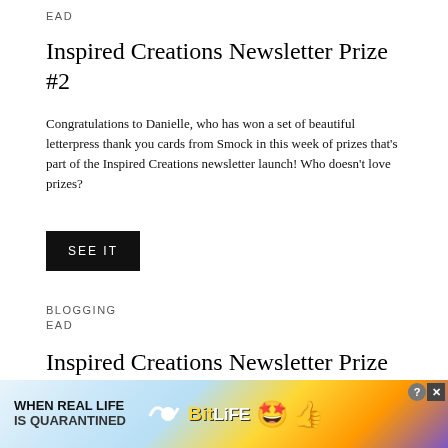EAD
Inspired Creations Newsletter Prize #2
Congratulations to Danielle, who has won a set of beautiful letterpress thank you cards from Smock in this week of prizes that's part of the Inspired Creations newsletter launch! Who doesn't love prizes?
SEE IT
BLOGGING
EAD
Inspired Creations Newsletter Prize #1
Congrats to Jenna, who is our first winner this week!Â  Jenna signed up for the new Inspired (... sidebar)) and has w...
[Figure (other): Advertisement banner: 'WHEN REAL LIFE IS QUARANTINED' with BitLife logo and emoji characters]